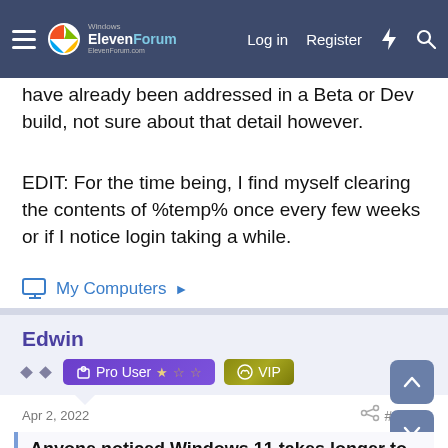Windows ElevenForum — Log in | Register
have already been addressed in a Beta or Dev build, not sure about that detail however.
EDIT: For the time being, I find myself clearing the contents of %temp% once every few weeks or if I notice login taking a while.
My Computers
Edwin
Pro User ☆☆☆  VIP
Apr 2, 2022   #3
Anyone noticed Windows 11 takes longer to boot compared to Windows 10?